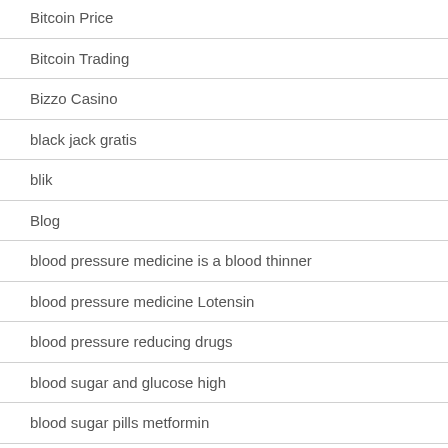Bitcoin Price
Bitcoin Trading
Bizzo Casino
black jack gratis
blik
Blog
blood pressure medicine is a blood thinner
blood pressure medicine Lotensin
blood pressure reducing drugs
blood sugar and glucose high
blood sugar pills metformin